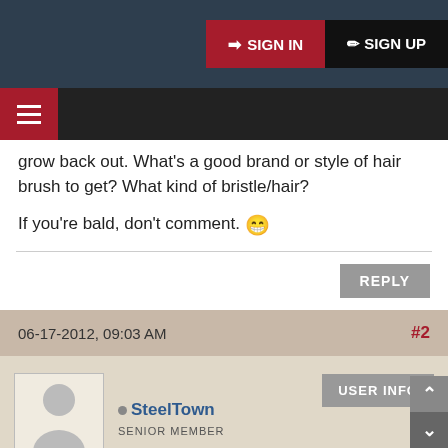SIGN IN  SIGN UP
grow back out. What's a good brand or style of hair brush to get? What kind of bristle/hair?
If you're bald, don't comment. 😁
REPLY
06-17-2012, 09:03 AM  #2
SteelTown
SENIOR MEMBER
USER INFO
(This post was last modified: 06-17-2012, 09:04 AM by SteelTown.)
I have always used white boar bristle military brushes. Any good manufacturer like Kent make quality brushes. Choon